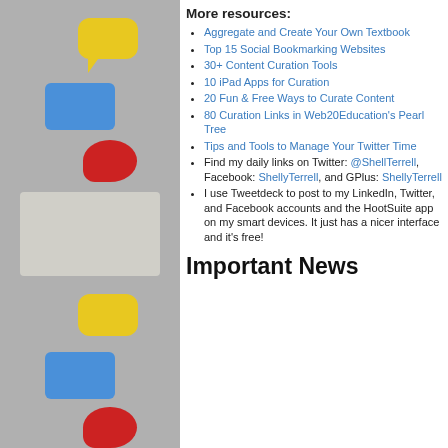[Figure (illustration): Left column with decorative educational icons: speech bubbles, screen icons, rocket bubbles, children photo, on a gray background]
More resources:
Aggregate and Create Your Own Textbook
Top 15 Social Bookmarking Websites
30+ Content Curation Tools
10 iPad Apps for Curation
20 Fun & Free Ways to Curate Content
80 Curation Links in Web20Education's Pearl Tree
Tips and Tools to Manage Your Twitter Time
Find my daily links on Twitter: @ShellTerrell, Facebook: ShellyTerrell, and GPlus: ShellyTerrell
I use Tweetdeck to post to my LinkedIn, Twitter, and Facebook accounts and the HootSuite app on my smart devices. It just has a nicer interface and it's free!
Important News